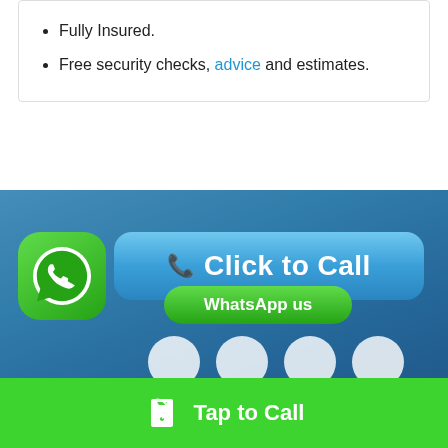Fully Insured.
Free security checks, advice and estimates.
[Figure (screenshot): Click to Call button with WhatsApp us overlay button and phone wave icon on blue gradient background]
[Figure (screenshot): Four circular social media icons on blurred city night background]
↑ Back to top
[Figure (screenshot): Mobile / Desktop toggle tab bar]
[Figure (screenshot): Green Tap to Call bar at bottom with phone icon]